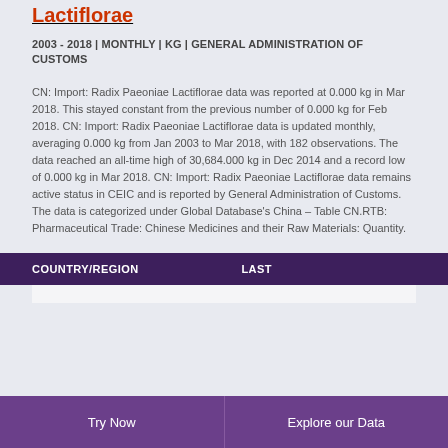Lactiflorae
2003 - 2018 | MONTHLY | KG | GENERAL ADMINISTRATION OF CUSTOMS
CN: Import: Radix Paeoniae Lactiflorae data was reported at 0.000 kg in Mar 2018. This stayed constant from the previous number of 0.000 kg for Feb 2018. CN: Import: Radix Paeoniae Lactiflorae data is updated monthly, averaging 0.000 kg from Jan 2003 to Mar 2018, with 182 observations. The data reached an all-time high of 30,684.000 kg in Dec 2014 and a record low of 0.000 kg in Mar 2018. CN: Import: Radix Paeoniae Lactiflorae data remains active status in CEIC and is reported by General Administration of Customs. The data is categorized under Global Database's China – Table CN.RTB: Pharmaceutical Trade: Chinese Medicines and their Raw Materials: Quantity.
| COUNTRY/REGION | LAST |
| --- | --- |
Try Now | Explore our Data